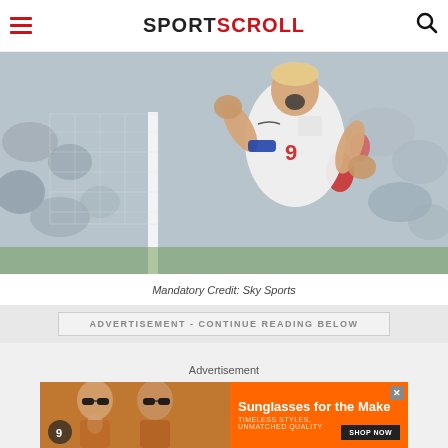SPORTSCROLL
[Figure (photo): Football player wearing England number 9 white kit celebrating with fists raised, crowd in background, goalpost visible. Harry Kane celebrating.]
Mandatory Credit: Sky Sports
ADVERTISEMENT - CONTINUE READING BELOW
Advertisement
[Figure (photo): Advertisement banner: women wearing sunglasses on orange background. Text reads: Sunglasses for the Make. TIMELESS STYLES, UNMATCHED QUALITY. SHOP NOW button. Close X button.]